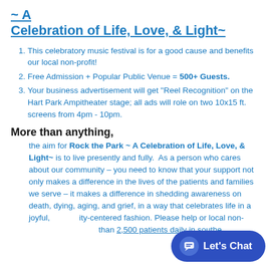~ A Celebration of Life, Love, & Light~
This celebratory music festival is for a good cause and benefits our local non-profit!
Free Admission + Popular Public Venue = 500+ Guests.
Your business advertisement will get "Reel Recognition" on the Hart Park Ampitheater stage; all ads will role on two 10x15 ft. screens from 4pm - 10pm.
More than anything,
the aim for Rock the Park ~ A Celebration of Life, Love, & Light~ is to live presently and fully. As a person who cares about our community – you need to know that your support not only makes a difference in the lives of the patients and families we serve – it makes a difference in shedding awareness on death, dying, aging, and grief, in a way that celebrates life in a joyful, community-centered fashion. Please help or local non-[...] than 2,500 patients daily in southe[...]